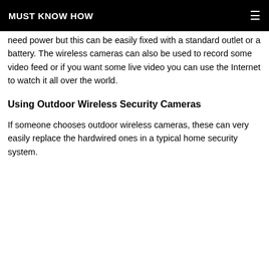MUST KNOW HOW
need power but this can be easily fixed with a standard outlet or a battery. The wireless cameras can also be used to record some video feed or if you want some live video you can use the Internet to watch it all over the world.
Using Outdoor Wireless Security Cameras
If someone chooses outdoor wireless cameras, these can very easily replace the hardwired ones in a typical home security system.